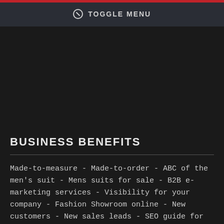⊘ TOGGLE MENU
BUSINESS BENEFITS
Made-to-measure - Made-to-order - ABC of the men's suit - Mens suits for sale - B2B e-marketing services - Visibility for your company - Fashion Showroom online - New customers - New sales leads - SEO guide for the menswear business - Business partners abroad - European men's suit business network - Online Marketing solutions - Business opportunities - Free business contacts - Custom men's suits business - Bespoke suits